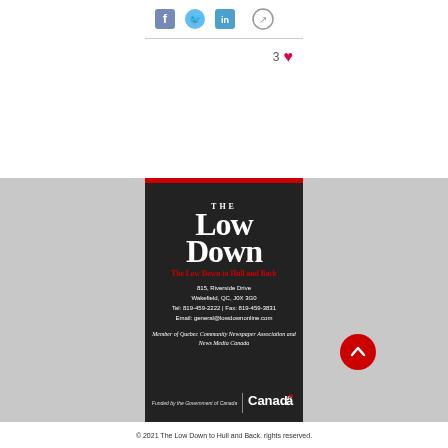3 ♥
[Figure (logo): The Low Down masthead logo in white serif text on dark background]
The Low Down to Hull and Back
815, Riverside Drive
Wakefield, QC, J0X 3G0
Tel: 819-459-2222 | Fax: 819-459-3831
Email: general@lowdownonline.com
Member of Quebec Community Newspaper Association and News Media Canada
[Figure (logo): Funded by the Government of Canada / Canada wordmark with flag leaf]
© 2021 The Low Down to Hull and Back. rights reserved.